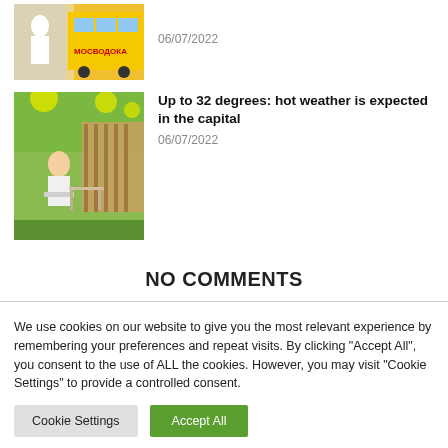[Figure (photo): Thumbnail of yellow vehicle with Cyrillic text on it]
06/07/2022
[Figure (photo): Person sitting outdoors in a park with decorative yellow balls]
Up to 32 degrees: hot weather is expected in the capital
06/07/2022
NO COMMENTS
We use cookies on our website to give you the most relevant experience by remembering your preferences and repeat visits. By clicking "Accept All", you consent to the use of ALL the cookies. However, you may visit "Cookie Settings" to provide a controlled consent.